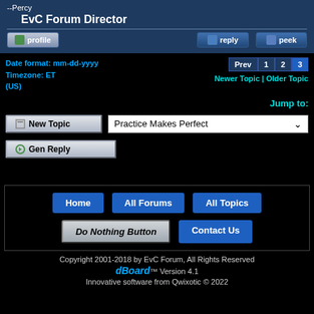--Percy
EvC Forum Director
profile | reply | peek
Date format: mm-dd-yyyy
Timezone: ET (US)
Prev 1 2 3
Newer Topic | Older Topic
Jump to:
New Topic   Practice Makes Perfect
Gen Reply
Home   All Forums   All Topics   Do Nothing Button   Contact Us
Copyright 2001-2018 by EvC Forum, All Rights Reserved
dBoard™ Version 4.1
Innovative software from Qwixotic © 2022